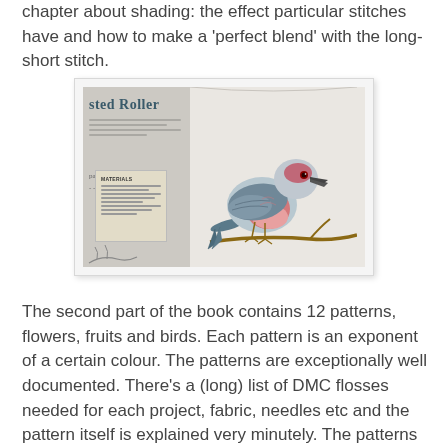chapter about shading: the effect particular stitches have and how to make a 'perfect blend' with the long-short stitch.
[Figure (photo): A photograph of an open book showing a page about a bird (appears to be a 'Lilac-breasted Roller' or similar). The right page shows a detailed embroidery or illustration of a colorful bird perched on a branch, with pink/red chest, grey-blue wings and a dark beak. The left page shows text and what appears to be a materials list card.]
The second part of the book contains 12 patterns, flowers, fruits and birds. Each pattern is an exponent of a certain colour. The patterns are exceptionally well documented. There's a (long) list of DMC flosses needed for each project, fabric, needles etc and the pattern itself is explained very minutely. The patterns are aimed at stitching a quite traditional very realistic looking flower or bird. If that is what